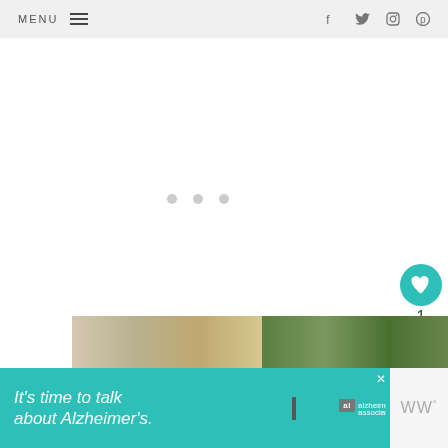MENU  ☰   f  twitter  instagram  pinterest
[Figure (screenshot): Large white content area with three light gray loading dots centered, indicating a loading/placeholder image region]
[Figure (illustration): Teal circular heart/like button with heart icon, count of 1 below it, and a share button circle below that]
1
WHAT'S NEXT →
DIY Painted Garden Bird...
[Figure (photo): Two food/garden thumbnail images at bottom of page]
It's time to talk about Alzheimer's.
LEARN MORE
[Figure (logo): Alzheimer's association logo with al square icon and close button]
[Figure (logo): WWº wireframe icon on right side]